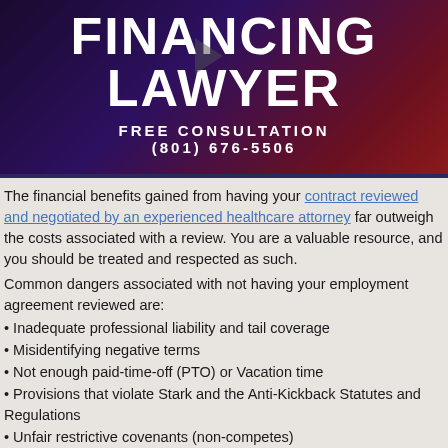[Figure (illustration): Banner with dark purple/red gradient background showing 'FINANCING LAWYER' in large white bold text, with 'FREE CONSULTATION (801) 676-5506' below it, and a play button icon overlay]
The financial benefits gained from having your contract reviewed and negotiated by an experienced healthcare attorney far outweigh the costs associated with a review. You are a valuable resource, and you should be treated and respected as such.
Common dangers associated with not having your employment agreement reviewed are:
Inadequate professional liability and tail coverage
Misidentifying negative terms
Not enough paid-time-off (PTO) or Vacation time
Provisions that violate Stark and the Anti-Kickback Statutes and Regulations
Unfair restrictive covenants (non-competes)
Unfavorable call schedules
Lack of Benefits